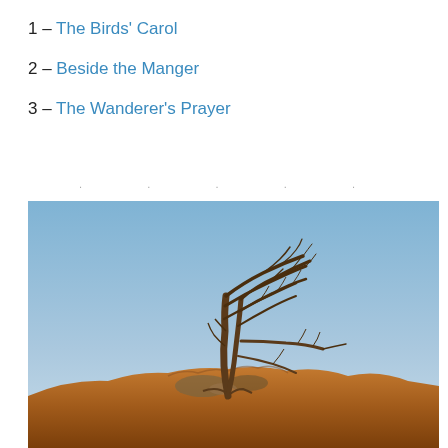1 – The Birds' Carol
2 – Beside the Manger
3 – The Wanderer's Prayer
. . . . .
[Figure (photo): A wind-swept bare tree on rocky ground against a clear blue sky, photographed outdoors in natural light.]